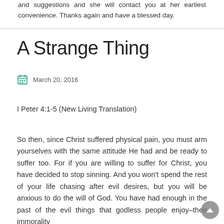and suggestions and she will contact you at her earliest convenience. Thanks again and have a blessed day.
A Strange Thing
March 20, 2016
I Peter 4:1-5 (New Living Translation)
So then, since Christ suffered physical pain, you must arm yourselves with the same attitude He had and be ready to suffer too. For if you are willing to suffer for Christ, you have decided to stop sinning. And you won't spend the rest of your life chasing after evil desires, but you will be anxious to do the will of God. You have had enough in the past of the evil things that godless people enjoy–their immorality